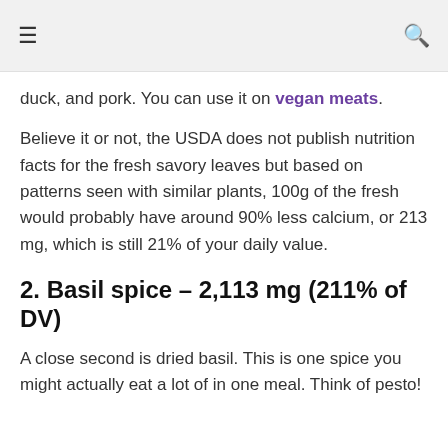≡  🔍
duck, and pork. You can use it on vegan meats.
Believe it or not, the USDA does not publish nutrition facts for the fresh savory leaves but based on patterns seen with similar plants, 100g of the fresh would probably have around 90% less calcium, or 213 mg, which is still 21% of your daily value.
2. Basil spice – 2,113 mg (211% of DV)
A close second is dried basil. This is one spice you might actually eat a lot of in one meal. Think of pesto!